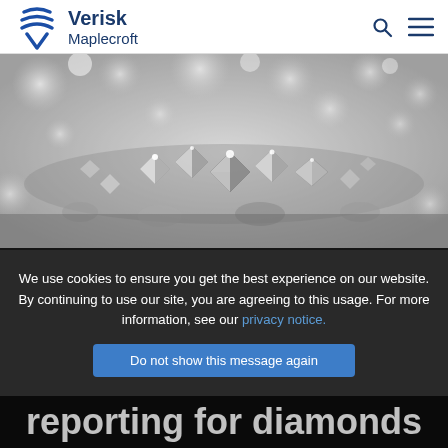Verisk Maplecroft
[Figure (photo): Close-up photograph of loose diamonds/crystals in black and white, showing shining faceted gems piled together]
We use cookies to ensure you get the best experience on our website. By continuing to use our site, you are agreeing to this usage. For more information, see our privacy notice.
Do not show this message again
Engagement and strengthening reporting for diamonds